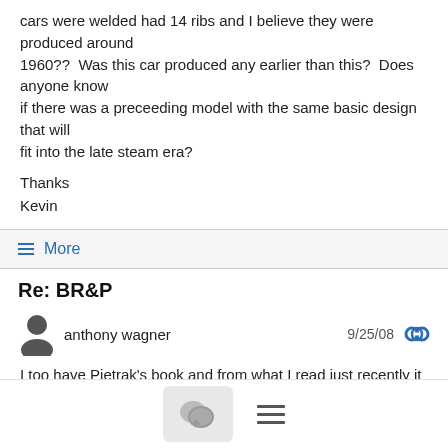cars were welded had 14 ribs and I believe they were produced around
1960??  Was this car produced any earlier than this?  Does anyone know
if there was a preceeding model with the same basic design that will
fit into the late steam era?
Thanks
Kevin
≡ More
Re: BR&P
anthony wagner   9/25/08
I too have Pietrak's book and from what I read just recently it appears that there was a bidding war going on between several